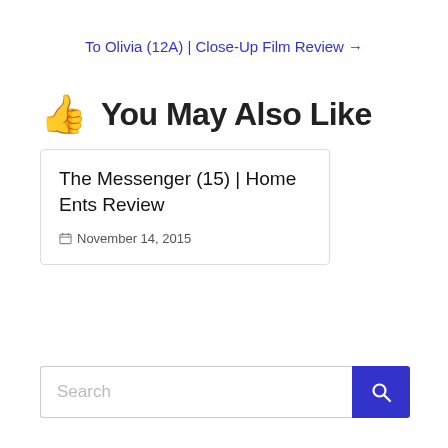To Olivia (12A) | Close-Up Film Review →
👍 You May Also Like
The Messenger (15) | Home Ents Review
November 14, 2015
Search